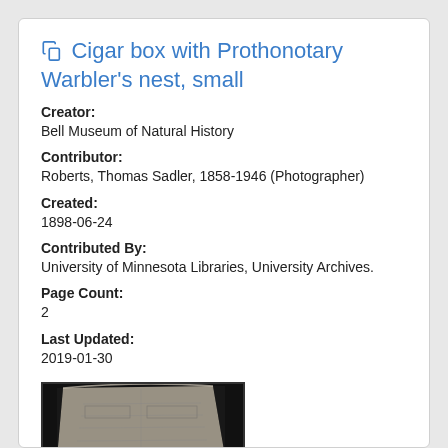Cigar box with Prothonotary Warbler's nest, small
Creator: Bell Museum of Natural History
Contributor: Roberts, Thomas Sadler, 1858-1946 (Photographer)
Created: 1898-06-24
Contributed By: University of Minnesota Libraries, University Archives.
Page Count: 2
Last Updated: 2019-01-30
[Figure (photo): Black and white photograph of a cigar box containing a Prothonotary Warbler's nest, showing faint markings and labels on the interior.]